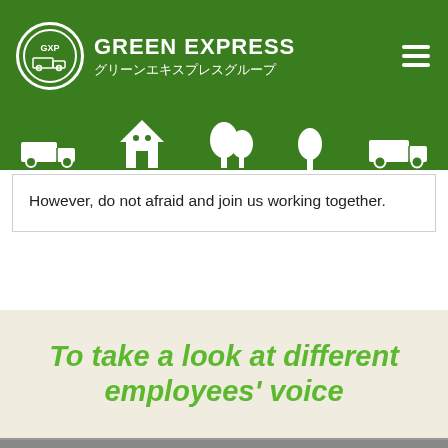GREEN EXPRESS グリーンエキスプレスグループ
However, do not afraid and join us working together.
To take a look at different employees' voice
[Figure (photo): Photo of a calculator and a ledger/spreadsheet with a pencil and pen on a desk]